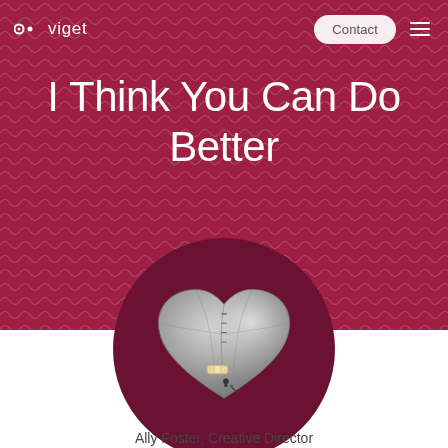viget
I Think You Can Do Better
[Figure (illustration): A metallic stitched heart with a bandage on it, centered in a dark circular background, half overlapping the crimson hero section and white lower section]
Ally Foster, Creative Director